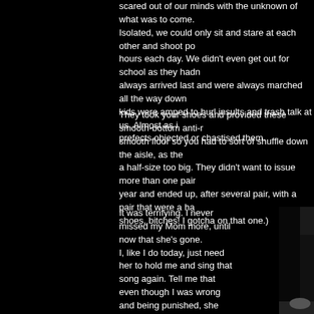scared out of our minds with the unknown of what was to come. Isolated, we could only sit and stare at each other and shoot po hours each day. We didn't even get out for school as they hadn always arrived last and were always marched all the way down kids were amped to hurl insults and trash talk at us. Almost as i prefects objected or chastised them.
They took your shoes and provided these smooth-bottom anti-r smooth floor so you had to sort of shuffle down the aisle, as the a half-size too big. They didn't want to issue more than one pair year and ended up, after several pair, with a pair that were a ha shoes, bitches! I gotcha on that one.)
It was terrifying. I never missed my Mom more, until now that she's gone. I, like I do today, just need her to hold me and sing that song again. Tell me that even though I was wrong and being punished, she loved me and that everything will be ok. That's what Moms do. It aint easy to do the hard thing. She did it and it crushed her. She suffered an actual nervous breakdown while I was in there. She stole a ConEd truck in Manhattan and was trying to get home. She was
[Figure (photo): Black and white photograph of a person standing at a microphone, wearing a vest and white shirt, with a table visible to the right.]